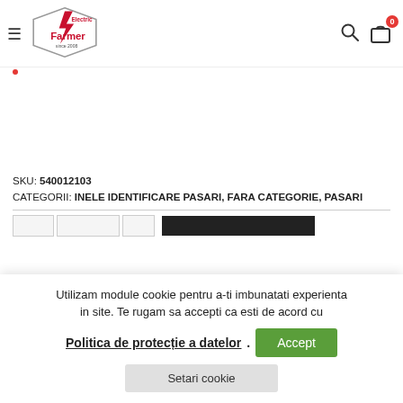Electric Farmer since 2008 — navigation header with search and bag icons
SKU: 540012103
CATEGORII: INELE IDENTIFICARE PASARI, FARA CATEGORIE, PASARI
[Figure (screenshot): Tab bar with three light tabs and one dark active tab]
Utilizam module cookie pentru a-ti imbunatati experienta in site. Te rugam sa accepti ca esti de acord cu Politica de protecție a datelor. Accept Setari cookie